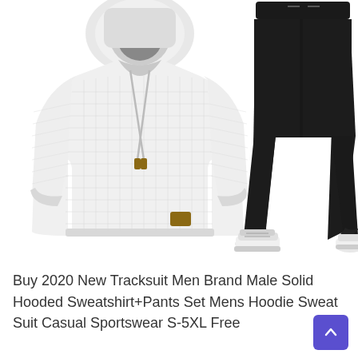[Figure (photo): Product photo showing a white waffle-knit hooded sweatshirt on the left and black jogger sweatpants worn by a person (showing legs and white sneakers) on the right, against a white background.]
Buy 2020 New Tracksuit Men Brand Male Solid Hooded Sweatshirt+Pants Set Mens Hoodie Sweat Suit Casual Sportswear S-5XL Free